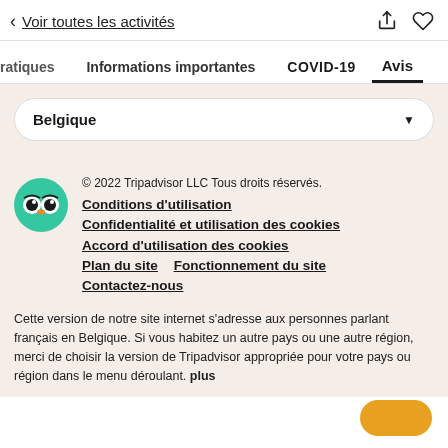< Voir toutes les activités
ratiques   Informations importantes   COVID-19   Avis
Belgique
© 2022 Tripadvisor LLC Tous droits réservés.
Conditions d'utilisation
Confidentialité et utilisation des cookies
Accord d'utilisation des cookies
Plan du site    Fonctionnement du site
Contactez-nous
Cette version de notre site internet s'adresse aux personnes parlant français en Belgique. Si vous habitez un autre pays ou une autre région, merci de choisir la version de Tripadvisor appropriée pour votre pays ou région dans le menu déroulant. plus